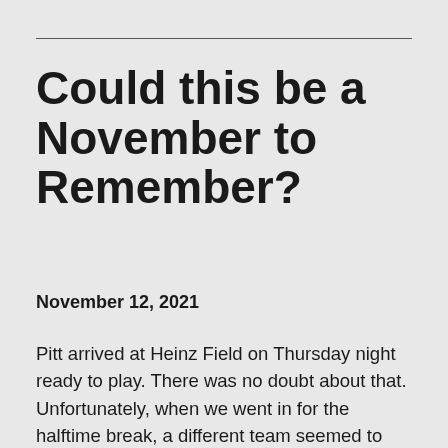Could this be a November to Remember?
November 12, 2021
Pitt arrived at Heinz Field on Thursday night ready to play.  There was no doubt about that.  Unfortunately, when we went in for the halftime break, a different team seemed to come out of the tunnel.  We had a good first half, a bad 2nd half and a very good overtime.  I have a hard time calling any win ugly, and fortunately we don't have to